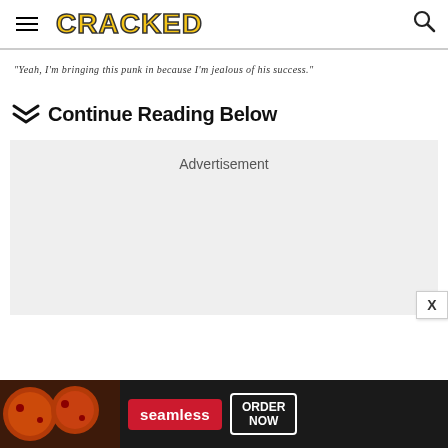CRACKED
"Yeah, I'm bringing this punk in because I'm jealous of his success."
Continue Reading Below
[Figure (other): Advertisement placeholder box (grey background)]
[Figure (other): Bottom banner advertisement for Seamless food delivery with pizza image, Seamless logo, and Order Now button]